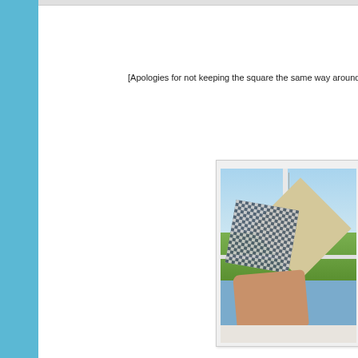[Apologies for not keeping the square the same way around as
[Figure (photo): A hand holding two fabric squares against a window — one with a blue/grey gingham checkered pattern and one plain beige/tan — with an outdoor landscape and blue sky visible through the window in the background.]